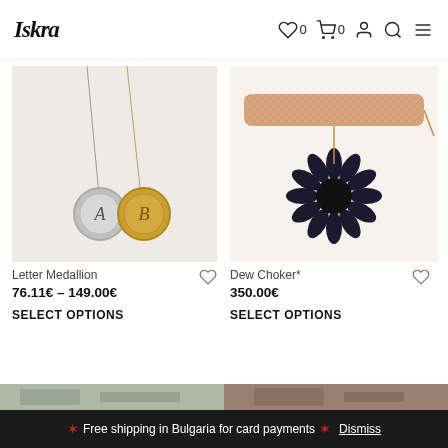ISKRA — Navigation header with logo, wishlist (0), cart (0), account, search, menu icons
[Figure (photo): Two necklaces on light background: one silver chain with letter A medallion, one gold chain with letter B medallion]
Letter Medallion
76.11€ – 149.00€
SELECT OPTIONS
[Figure (photo): Rose gold mesh choker necklace with black crystal sunburst pendant on white background]
Dew Choker*
350.00€
SELECT OPTIONS
[Figure (photo): Partial view of two product images at the bottom of the page]
🌟 Free shipping in Bulgaria for card payments 🌟 Dismiss